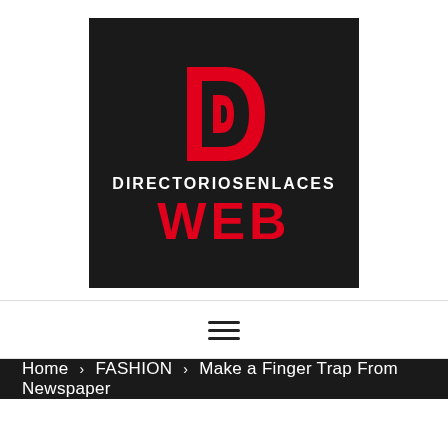[Figure (logo): DirectorioSenlaces Web logo — dark background square with a red stylized D at the top, white text DIRECTORIOSENLACES in the middle, and large red bold text WEB at the bottom.]
≡ (hamburger menu icon)
Home > FASHION > Make a Finger Trap From Newspaper